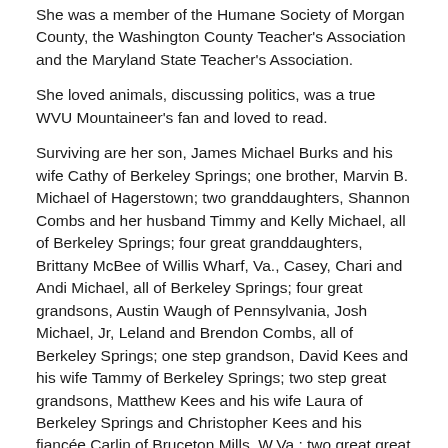She was a member of the Humane Society of Morgan County, the Washington County Teacher's Association and the Maryland State Teacher's Association.
She loved animals, discussing politics, was a true WVU Mountaineer's fan and loved to read.
Surviving are her son, James Michael Burks and his wife Cathy of Berkeley Springs; one brother, Marvin B. Michael of Hagerstown; two granddaughters, Shannon Combs and her husband Timmy and Kelly Michael, all of Berkeley Springs; four great granddaughters, Brittany McBee of Willis Wharf, Va., Casey, Chari and Andi Michael, all of Berkeley Springs; four great grandsons, Austin Waugh of Pennsylvania, Josh Michael, Jr, Leland and Brendon Combs, all of Berkeley Springs; one step grandson, David Kees and his wife Tammy of Berkeley Springs; two step great grandsons, Matthew Kees and his wife Laura of Berkeley Springs and Christopher Kees and his fiancée Carlin of Bruceton Mills, W.Va.; two great great granddaughters, Kinsley and Ava Barnes, both of Willis Wharf, Va.; one step great great grandson, Hayden Harper of Berkeley Springs and several nieces, nephews and cousins.
In addition to her parents, she was preceded in death by her